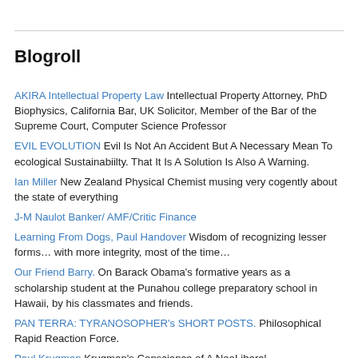Blogroll
AKIRA Intellectual Property Law Intellectual Property Attorney, PhD Biophysics, California Bar, UK Solicitor, Member of the Bar of the Supreme Court, Computer Science Professor
EVIL EVOLUTION Evil Is Not An Accident But A Necessary Mean To ecological Sustainabiilty. That It Is A Solution Is Also A Warning.
Ian Miller New Zealand Physical Chemist musing very cogently about the state of everything
J-M Naulot Banker/ AMF/Critic Finance
Learning From Dogs, Paul Handover Wisdom of recognizing lesser forms… with more integrity, most of the time…
Our Friend Barry. On Barack Obama's formative years as a scholarship student at the Punahou college preparatory school in Hawaii, by his classmates and friends.
PAN TERRA: TYRANOSOPHER's SHORT POSTS. Philosophical Rapid Reaction Force.
Paul Krugman Krugman's Conscience of A NeoLiberal